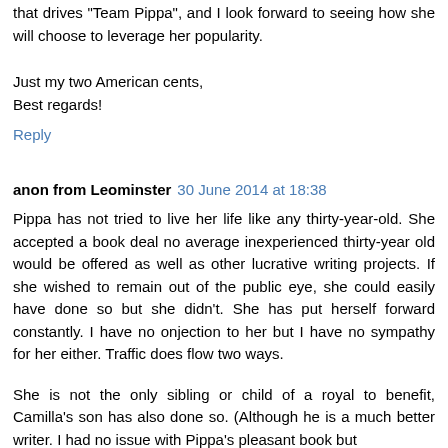that drives "Team Pippa", and I look forward to seeing how she will choose to leverage her popularity.
Just my two American cents,
Best regards!
Reply
anon from Leominster  30 June 2014 at 18:38
Pippa has not tried to live her life like any thirty-year-old. She accepted a book deal no average inexperienced thirty-year old would be offered as well as other lucrative writing projects. If she wished to remain out of the public eye, she could easily have done so but she didn't. She has put herself forward constantly. I have no onjection to her but I have no sympathy for her either. Traffic does flow two ways.
She is not the only sibling or child of a royal to benefit, Camilla's son has also done so. (Although he is a much better writer. I had no issue with Pippa's pleasant book but